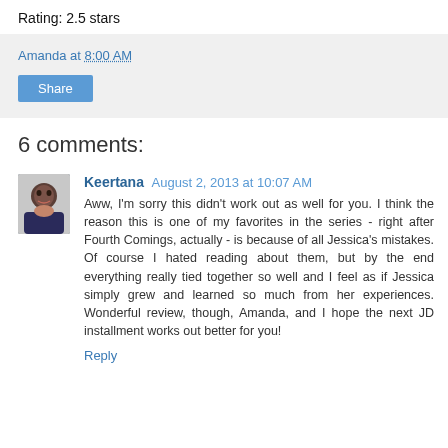Rating: 2.5 stars
Amanda at 8:00 AM
Share
6 comments:
Keertana August 2, 2013 at 10:07 AM
Aww, I'm sorry this didn't work out as well for you. I think the reason this is one of my favorites in the series - right after Fourth Comings, actually - is because of all Jessica's mistakes. Of course I hated reading about them, but by the end everything really tied together so well and I feel as if Jessica simply grew and learned so much from her experiences. Wonderful review, though, Amanda, and I hope the next JD installment works out better for you!
Reply